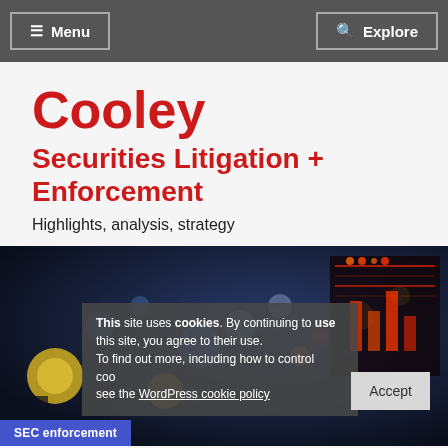≡ Menu | 🔍 Explore
Cooley
Securities Litigation + Enforcement
Highlights, analysis, strategy
[Figure (photo): Blurred cityscape/stock market background with colorful bokeh lights and a digital financial display at night]
This site uses cookies. By continuing to use this site, you agree to their use.
To find out more, including how to control cookies, see the WordPress cookie policy
Accept
SEC enforcement